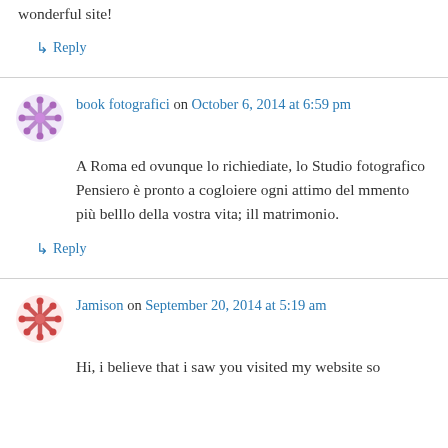wonderful site!
↳ Reply
book fotografici on October 6, 2014 at 6:59 pm
A Roma ed ovunque lo richiediate, lo Studio fotografico Pensiero è pronto a cogloiere ogni attimo del mmento più belllo della vostra vita; ill matrimonio.
↳ Reply
Jamison on September 20, 2014 at 5:19 am
Hi, i believe that i saw you visited my website so